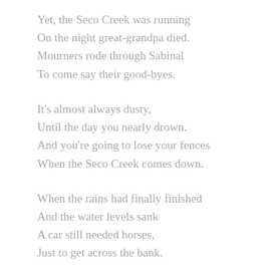Yet, the Seco Creek was running
On the night great-grandpa died.
Mourners rode through Sabinal
To come say their good-byes.
It's almost always dusty,
Until the day you nearly drown.
And you're going to lose your fences
When the Seco Creek comes down.
When the rains had finally finished
And the water levels sank
A car still needed horses,
Just to get across the bank.
There are fossils in the Seco,
Another ages' souvenirs.